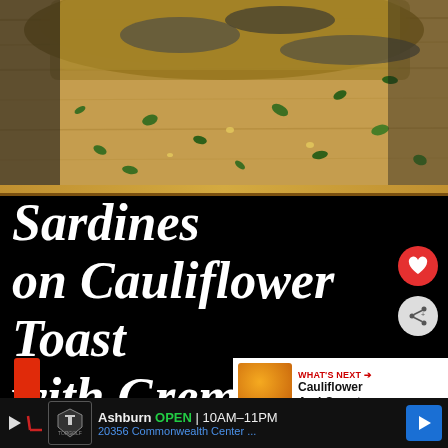[Figure (photo): Close-up food photo of sardines on cauliflower toast with gremolata on a wooden cutting board, showing green herbs scattered around]
Sardines on Cauliflower Toast with Gremolata
[Figure (photo): Small thumbnail of cauliflower and carrot dish for 'What's Next' sidebar]
WHAT'S NEXT → Cauliflower And Carrot...
[Figure (photo): Bottom row showing cauliflower florets and dark background]
Ashburn  OPEN  10AM–11PM  20356 Commonwealth Center ...